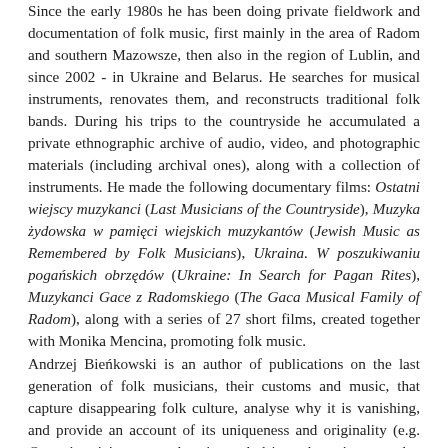Since the early 1980s he has been doing private fieldwork and documentation of folk music, first mainly in the area of Radom and southern Mazowsze, then also in the region of Lublin, and since 2002 - in Ukraine and Belarus. He searches for musical instruments, renovates them, and reconstructs traditional folk bands. During his trips to the countryside he accumulated a private ethnographic archive of audio, video, and photographic materials (including archival ones), along with a collection of instruments. He made the following documentary films: Ostatni wiejscy muzykanci (Last Musicians of the Countryside), Muzyka żydowska w pamięci wiejskich muzykantów (Jewish Music as Remembered by Folk Musicians), Ukraina. W poszukiwaniu pogańskich obrzędów (Ukraine: In Search for Pagan Rites), Muzykanci Gace z Radomskiego (The Gaca Musical Family of Radom), along with a series of 27 short films, created together with Monika Mencina, promoting folk music.
Andrzej Bieńkowski is an author of publications on the last generation of folk musicians, their customs and music, that capture disappearing folk culture, analyse why it is vanishing, and provide an account of its uniqueness and originality (e.g. Ostatni wiejscy muzykanci – ludzie, obyczaje, muzyka; Sprzedana muzyka). He is also a co-author of the CD series